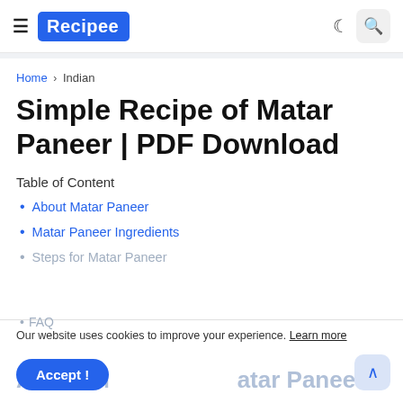Recipee
Home > Indian
Simple Recipe of Matar Paneer | PDF Download
Table of Content
About Matar Paneer
Matar Paneer Ingredients
Steps for Matar Paneer
FAQ
Our website uses cookies to improve your experience. Learn more
Accept !
About Matar Paneer